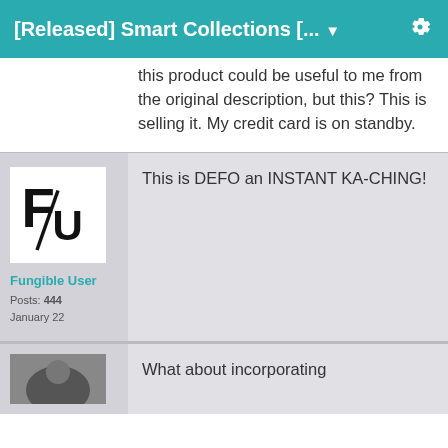[Released] Smart Collections [... ▼
this product could be useful to me from the original description, but this? This is selling it. My credit card is on standby.
Fungible User
Posts: 444
January 22
This is DEFO an INSTANT KA-CHING!
What about incorporating